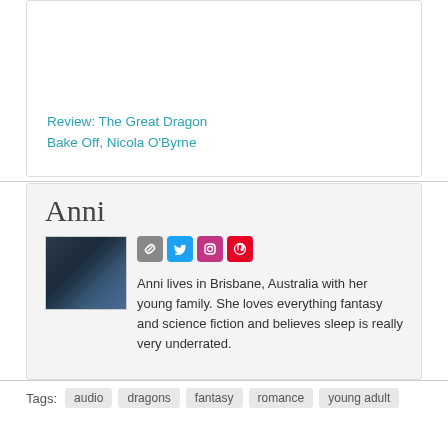Review: The Great Dragon Bake Off, Nicola O'Byrne
Anni
[Figure (photo): Author photo of Anni, a person wearing a blue jacket]
Anni lives in Brisbane, Australia with her young family. She loves everything fantasy and science fiction and believes sleep is really very underrated.
Tags: audio dragons fantasy romance young adult